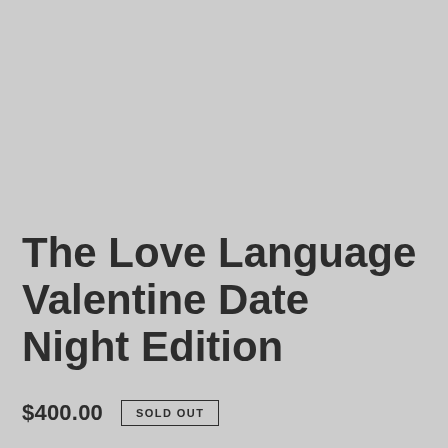The Love Language Valentine Date Night Edition
$400.00   SOLD OUT